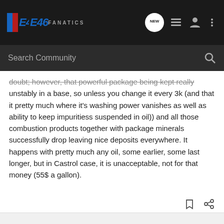E46Fanatics — NEW (navigation icons)
Search Community
doubt; however, that powerful package being kept really unstably in a base, so unless you change it every 3k (and that it pretty much where it's washing power vanishes as well as ability to keep impuritiess suspended in oil)) and all those combustion products together with package minerals successfully drop leaving nice deposits everywhere. It happens with pretty much any oil, some earlier, some last longer, but in Castrol case, it is unacceptable, not for that money (55$ a gallon).
doukas007 · Registered
'01 320Ci manual
Joined Sep 30, 2017 · 1,412 Posts